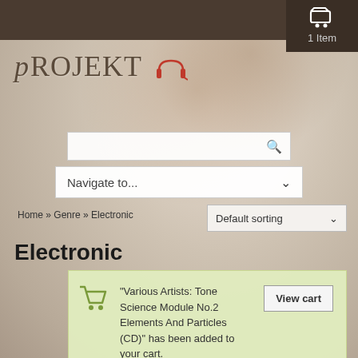Login | 1 Item
[Figure (logo): PROJEKT logo with headphone graphic on textured background]
Navigate to...
Home » Genre » Electronic
Default sorting
Electronic
"Various Artists: Tone Science Module No.2 Elements And Particles (CD)" has been added to your cart.